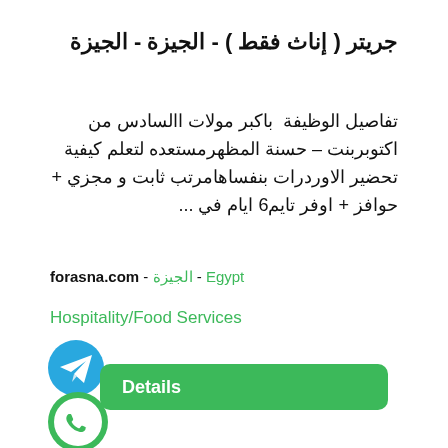جريتر ( إناث فقط ) - الجيزة - الجيزة
تفاصيل الوظيفة  باكبر مولات االسادس من اكتوبربنت – حسنة المظهرمستعده لتعلم كيفية تحضير الاوردرات بنفساهامرتب ثابت و مجزي + حوافز + اوفر تايم6 ايام في ...
forasna.com - الجيزة - Egypt
Hospitality/Food Services
[Figure (logo): Telegram blue circle icon with paper plane]
Details
[Figure (logo): WhatsApp green circle icon]